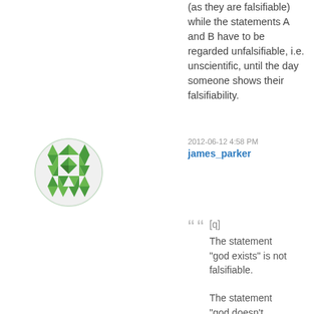(as they are falsifiable) while the statements A and B have to be regarded unfalsifiable, i.e. unscientific, until the day someone shows their falsifiability.
[Figure (illustration): Green geometric quilt-pattern avatar in a circle for user james_parker]
2012-06-12 4:58 PM
james_parker
[q] The statement "god exists" is not falsifiable. The statement "god doesn't
quoted comment block